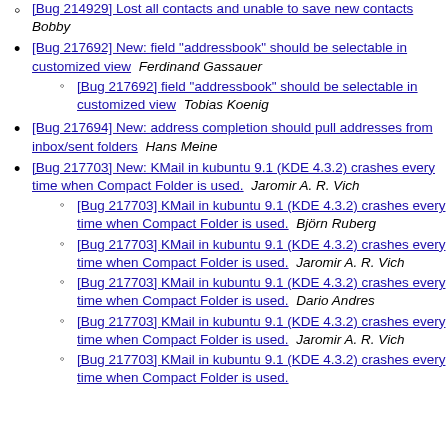[Bug 214929] Lost all contacts and unable to save new contacts  Bobby
[Bug 217692] New: field "addressbook" should be selectable in customized view  Ferdinand Gassauer
[Bug 217692] field "addressbook" should be selectable in customized view  Tobias Koenig
[Bug 217694] New: address completion should pull addresses from inbox/sent folders  Hans Meine
[Bug 217703] New: KMail in kubuntu 9.1 (KDE 4.3.2) crashes every time when Compact Folder is used.  Jaromir A. R. Vich
[Bug 217703] KMail in kubuntu 9.1 (KDE 4.3.2) crashes every time when Compact Folder is used.  Björn Ruberg
[Bug 217703] KMail in kubuntu 9.1 (KDE 4.3.2) crashes every time when Compact Folder is used.  Jaromir A. R. Vich
[Bug 217703] KMail in kubuntu 9.1 (KDE 4.3.2) crashes every time when Compact Folder is used.  Dario Andres
[Bug 217703] KMail in kubuntu 9.1 (KDE 4.3.2) crashes every time when Compact Folder is used.  Jaromir A. R. Vich
[Bug 217703] KMail in kubuntu 9.1 (KDE 4.3.2) crashes every time when Compact Folder is used.